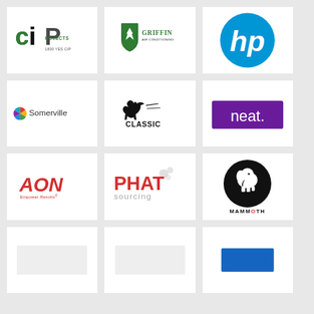[Figure (logo): CIP Projects logo with text '1800 YES CIP']
[Figure (logo): Griffin Air Conditioning logo with green shield and bird icon]
[Figure (logo): HP (Hewlett-Packard) blue circular logo]
[Figure (logo): Somerville logo with colorful circle icon]
[Figure (logo): Classic kangaroo logo in black]
[Figure (logo): neat. logo white text on purple rectangle]
[Figure (logo): AON Empower Results red logo]
[Figure (logo): PHAT Sourcing logo in red and gray]
[Figure (logo): Mammoth logo with elephant in black circle]
[Figure (logo): Partial logo row 4 col 1]
[Figure (logo): Partial logo row 4 col 2]
[Figure (logo): Partial logo row 4 col 3]